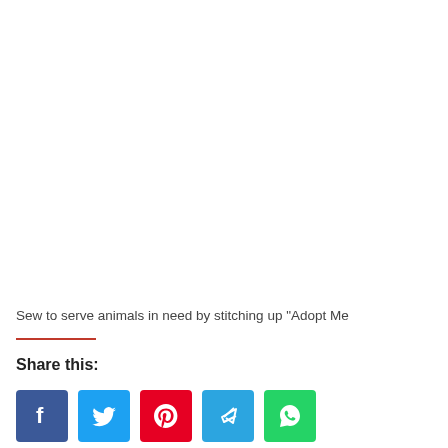Sew to serve animals in need by stitching up "Adopt Me
Share this:
[Figure (infographic): Row of social media share buttons: Facebook (blue), Twitter (light blue), Pinterest (red), Telegram (blue), WhatsApp (green)]